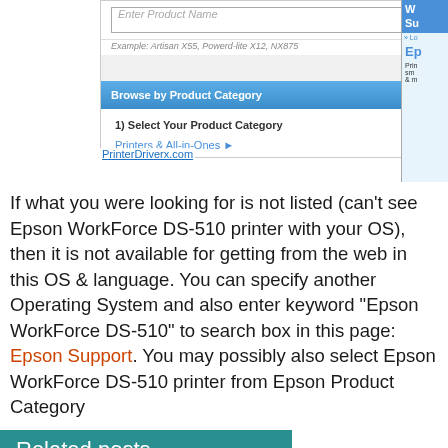[Figure (screenshot): Screenshot of Epson product support page showing a search box with 'Enter Product Name' placeholder, a Search button, 'OR' divider, 'Browse by Product Category' section with '1) Select Your Product Category' step, 'Printers & All-in-Ones' link with arrow, and a PrinterDriverx.com watermark. A red arrow annotation points to the category link.]
If what you were looking for is not listed (can’t see Epson WorkForce DS-510 printer with your OS), then it is not available for getting from the web in this OS & language. You can specify another Operating System and also enter keyword “Epson WorkForce DS-510” to search box in this page: Epson Support. You may possibly also select Epson WorkForce DS-510 printer from Epson Product Category
Related posts